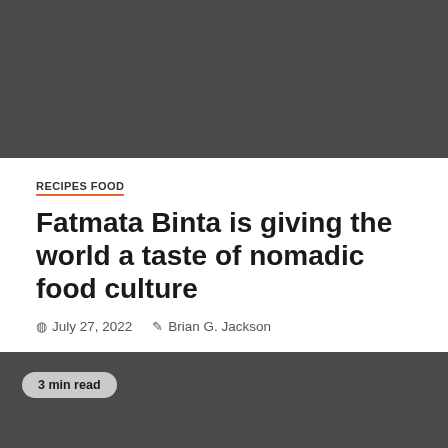[Figure (photo): Dark gray header image area at top of article page]
RECIPES FOOD
Fatmata Binta is giving the world a taste of nomadic food culture
July 27, 2022   Brian G. Jackson
[Figure (photo): Dark gray image area below article header with '3 min read' badge and orange scroll-to-top button]